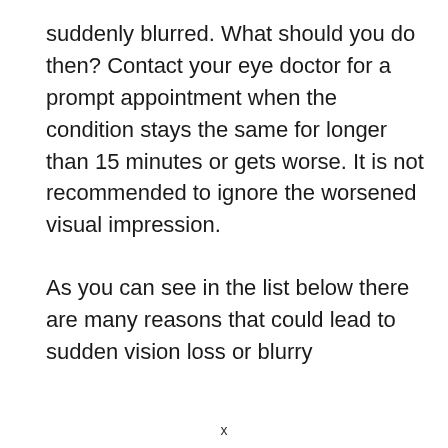suddenly blurred. What should you do then? Contact your eye doctor for a prompt appointment when the condition stays the same for longer than 15 minutes or gets worse. It is not recommended to ignore the worsened visual impression.
As you can see in the list below there are many reasons that could lead to sudden vision loss or blurry
x